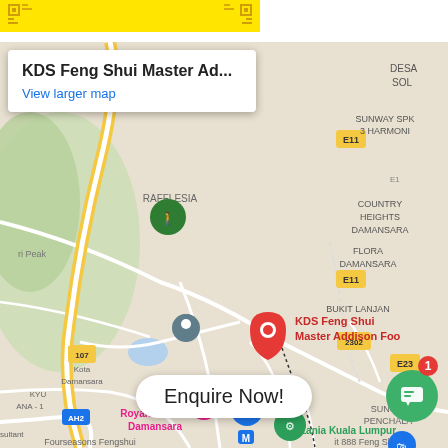[Figure (other): Yellow header bar with decorative icons on left and right sides]
[Figure (map): Google Maps screenshot showing KDS Feng Shui Master Addison Foo location in Neo Damansara area, Kuala Lumpur, Malaysia. A red location pin marks the business. Nearby landmarks include Royale Chulan Damansara, KidZania Kuala Lumpur, Sunway SPK 3 Harmoni, Country Heights Damansara, Flora Damansara, Bukit Lanjan, Sungai Penchala. Roads E11, E23, AH2, 2302 visible. A white popup box shows 'KDS Feng Shui Master Ad...' and 'View larger map'. An 'Enquire Now!' button and green chat bubble with notification badge '1' appear at bottom.]